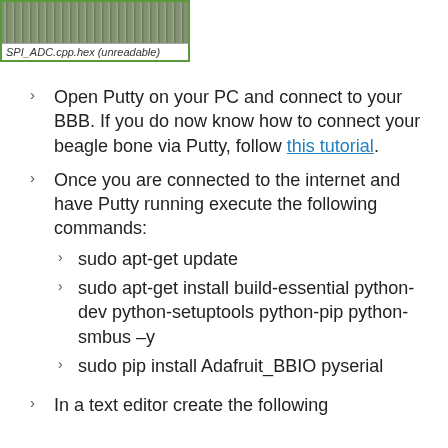[Figure (screenshot): Screenshot of a file named SPI_ADC.cpp.hex (unreadable) shown with a green border frame, displaying garbled/binary content]
Open Putty on your PC and connect to your BBB. If you do now know how to connect your beagle bone via Putty, follow this tutorial.
Once you are connected to the internet and have Putty running execute the following commands: sudo apt-get update | sudo apt-get install build-essential python-dev python-setuptools python-pip python-smbus –y | sudo pip install Adafruit_BBIO pyserial
In a text editor create the following